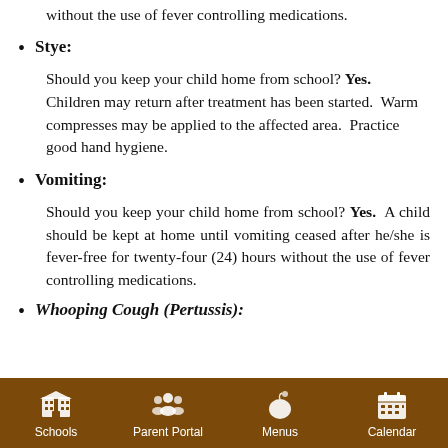without the use of fever controlling medications.
Stye:
Should you keep your child home from school? Yes. Children may return after treatment has been started. Warm compresses may be applied to the affected area. Practice good hand hygiene.
Vomiting:
Should you keep your child home from school? Yes. A child should be kept at home until vomiting ceased after he/she is fever-free for twenty-four (24) hours without the use of fever controlling medications.
Whooping Cough (Pertussis):
Schools | Parent Portal | Menus | Calendar